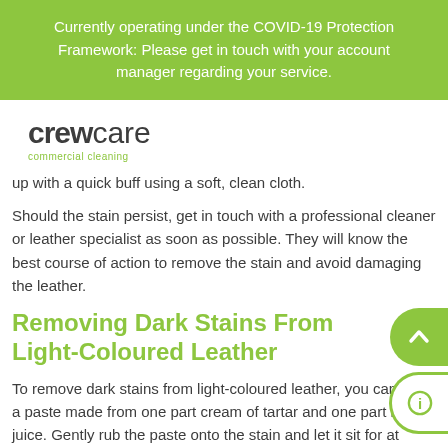Currently operating under the COVID-19 Protection Framework: Please get in touch with your account manager regarding your service.
[Figure (logo): CrewCare commercial cleaning logo]
up with a quick buff using a soft, clean cloth.
Should the stain persist, get in touch with a professional cleaner or leather specialist as soon as possible. They will know the best course of action to remove the stain and avoid damaging the leather.
Removing Dark Stains From Light-Coloured Leather
To remove dark stains from light-coloured leather, you can use a paste made from one part cream of tartar and one part lemon juice. Gently rub the paste onto the stain and let it sit for at